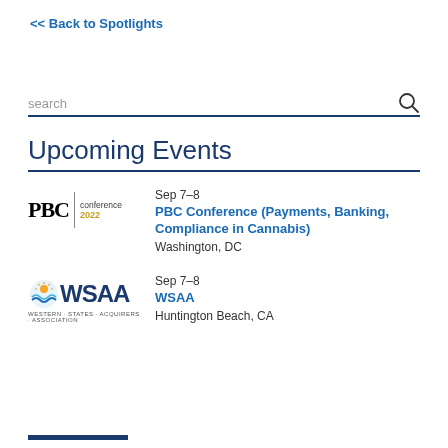<< Back to Spotlights
search
Upcoming Events
[Figure (logo): PBC conference 2022 logo with bold PBC text, vertical divider, and 'conference 2022' text in gold]
Sep 7–8
PBC Conference (Payments, Banking, Compliance in Cannabis)
Washington, DC
[Figure (logo): WSAA Western States Acquirers Association logo with colorful circular icon and bold WSAA text]
Sep 7–8
WSAA
Huntington Beach, CA